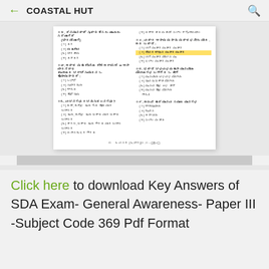COASTAL HUT
[Figure (photo): Scanned exam paper in Kannada script showing multiple choice questions with answer options. The paper appears to be an SDA Exam General Awareness Paper III question paper. One answer option is highlighted in yellow.]
Click here to download Key Answers of SDA Exam- General Awareness- Paper III -Subject Code 369 Pdf Format